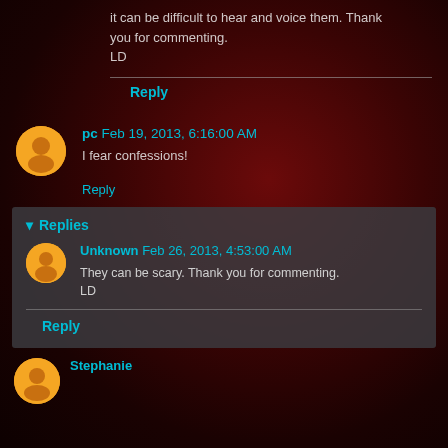it can be difficult to hear and voice them. Thank you for commenting.
LD
Reply
pc  Feb 19, 2013, 6:16:00 AM
I fear confessions!
Reply
Replies
Unknown  Feb 26, 2013, 4:53:00 AM
They can be scary. Thank you for commenting.
LD
Reply